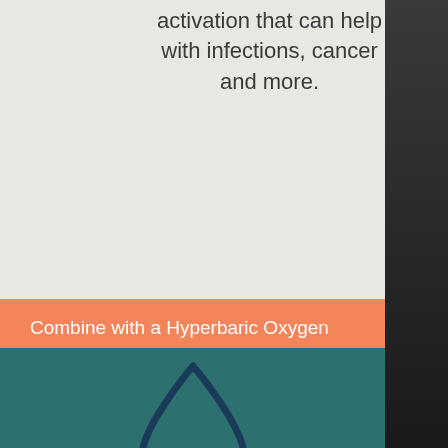activation that can help with infections, cancer and more.
Combine with a Hyperbaric Oxygen
[Figure (illustration): Water drop icon outline in dark teal/navy color on teal background]
Build Your Own
Add ons to any base IV!